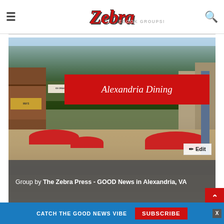≡  Zebra  EBOOK GROUPS!  🔍
[Figure (photo): Outdoor street dining scene in Alexandria, VA with red umbrellas, trees, crowds of people walking and dining, storefronts including Mia's and Ice Cream shops. Red banner overlay reads 'Alexandria Dining'. Gray footer bar reads 'Group by The Zebra Press - GOOD News in Alexandria, VA'. Edit button in lower right.]
Alexandria Dining
CATCH THE GOOD NEWS VIBE   SUBSCRIBE   X